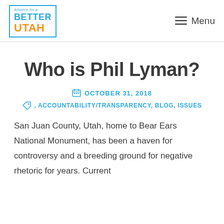[Figure (logo): Alliance for a Better Utah logo — blue border box with 'Alliance for a' in small italic blue text, 'BETTER' in bold blue, 'UTAH' in bold orange]
Menu
Who is Phil Lyman?
OCTOBER 31, 2018
, ACCOUNTABILITY/TRANSPARENCY, BLOG, ISSUES
San Juan County, Utah, home to Bear Ears National Monument, has been a haven for controversy and a breeding ground for negative rhetoric for years. Current